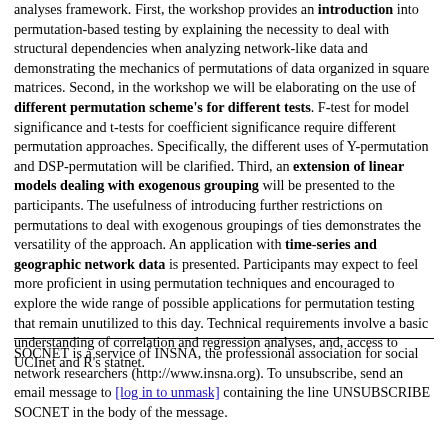analyses framework. First, the workshop provides an introduction into permutation-based testing by explaining the necessity to deal with structural dependencies when analyzing network-like data and demonstrating the mechanics of permutations of data organized in square matrices. Second, in the workshop we will be elaborating on the use of different permutation scheme's for different tests. F-test for model significance and t-tests for coefficient significance require different permutation approaches. Specifically, the different uses of Y-permutation and DSP-permutation will be clarified. Third, an extension of linear models dealing with exogenous grouping will be presented to the participants. The usefulness of introducing further restrictions on permutations to deal with exogenous groupings of ties demonstrates the versatility of the approach. An application with time-series and geographic network data is presented. Participants may expect to feel more proficient in using permutation techniques and encouraged to explore the wide range of possible applications for permutation testing that remain unutilized to this day. Technical requirements involve a basic understanding of correlation and regression analyses, and, access to UCInet and R's statnet.
SOCNET is a service of INSNA, the professional association for social network researchers (http://www.insna.org). To unsubscribe, send an email message to [log in to unmask] containing the line UNSUBSCRIBE SOCNET in the body of the message.